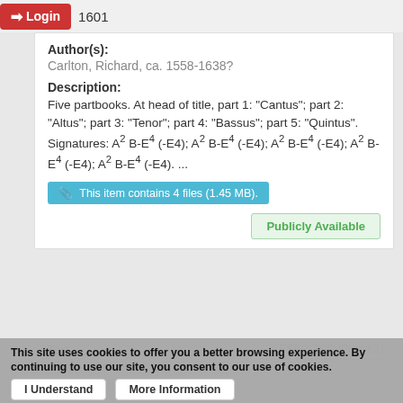Login | Date of publication: 1601
Author(s):
Carlton, Richard, ca. 1558-1638?
Description:
Five partbooks. At head of title, part 1: "Cantus"; part 2: "Altus"; part 3: "Tenor"; part 4: "Bassus"; part 5: "Quintus". Signatures: A² B-E⁴ (-E4); A² B-E⁴ (-E4); A² B-E⁴ (-E4); A² B-E⁴ (-E4); A² B-E⁴ (-E4). ...
This item contains 4 files (1.45 MB).
Publicly Available
Text | EEBO-TCP (Phase 1)
This site uses cookies to offer you a better browsing experience. By continuing to use our site, you consent to our use of cookies.
I Understand | More Information